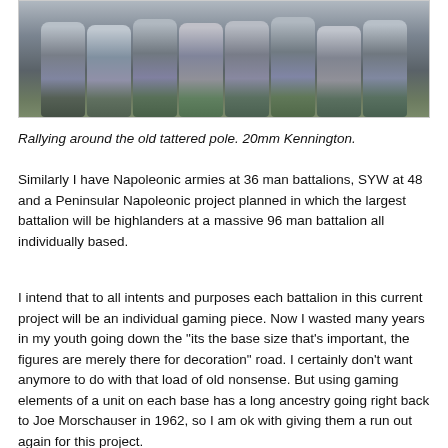[Figure (photo): Photograph of multiple painted 20mm Kennington miniature soldiers in gray uniforms, arranged in a row on green-painted bases, against a dark background.]
Rallying around the old tattered pole. 20mm Kennington.
Similarly I have Napoleonic armies at 36 man battalions, SYW at 48 and a Peninsular Napoleonic project planned in which the largest battalion will be highlanders at a massive 96 man battalion all individually based.
I intend that to all intents and purposes each battalion in this current project will be an individual gaming piece. Now I wasted many years in my youth going down the "its the base size that's important, the figures are merely there for decoration" road. I certainly don't want anymore to do with that load of old nonsense. But using gaming elements of a unit on each base has a long ancestry going right back to Joe Morschauser in 1962, so I am ok with giving them a run out again for this project.